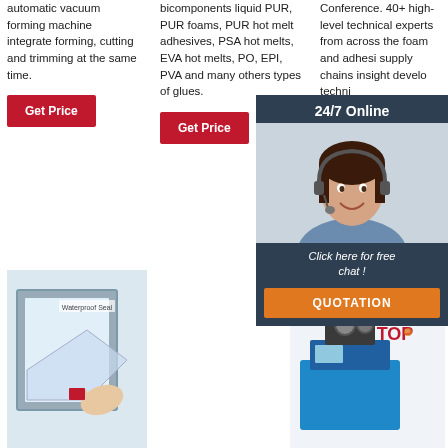automatic vacuum forming machine integrate forming, cutting and trimming at the same time.
Get Price
bicomponents liquid PUR, PUR foams, PUR hot melt adhesives, PSA hot melts, EVA hot melts, PO, EPI, PVA and many others types of glues.
Get Price
Conference. 40+ high-level technical experts from across the foam and adhesives supply chains sharing insights on developments, techniques ...
Get
24/7 Online
Click here for free chat !
QUOTATION
[Figure (photo): Waterproof seal product photo showing a hand peeling protective film from a framed panel]
[Figure (photo): Industrial machine (likely spring coiling or wire forming machine) with TOP brand logo]